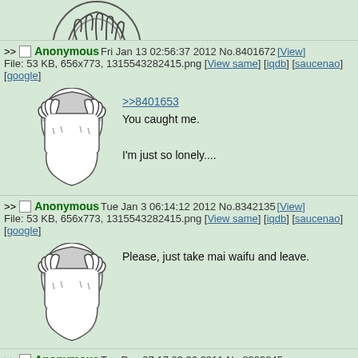[Figure (illustration): Partial view of facepalm anime-style illustration at top of page]
>> Anonymous Fri Jan 13 02:56:37 2012 No.8401672 [View]
File: 53 KB, 656x773, 1315543282415.png [View same] [iqdb] [saucenao] [google]
[Figure (illustration): Anime-style facepalm illustration - person covering face with hands]
>>8401653
You caught me.

I'm just so lonely....
>> Anonymous Tue Jan 3 06:14:12 2012 No.8342135 [View]
File: 53 KB, 656x773, 1315543282415.png [View same] [iqdb] [saucenao] [google]
[Figure (illustration): Anime-style facepalm illustration - person covering face with hands]
Please, just take mai waifu and leave.
>> Anonymous Tue Dec 27 17:03:36 2011 No.8299845
[View]